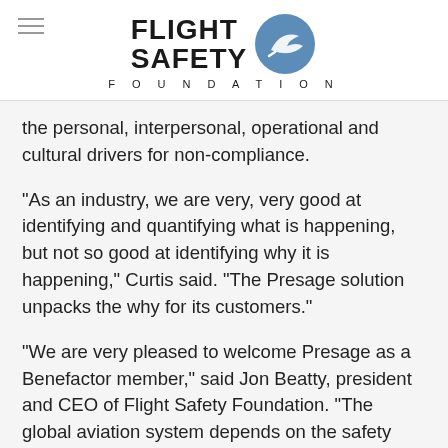[Figure (logo): Flight Safety Foundation logo with circular icon containing a checkmark/arrow symbol]
the personal, interpersonal, operational and cultural drivers for non-compliance.
“As an industry, we are very, very good at identifying and quantifying what is happening, but not so good at identifying why it is happening,” Curtis said. “The Presage solution unpacks the why for its customers.”
“We are very pleased to welcome Presage as a Benefactor member,” said Jon Beatty, president and CEO of Flight Safety Foundation. “The global aviation system depends on the safety work of the Foundation, and we depend on our membership to help fund that work. Our Benefactor members demonstrate this commitment at the highest level